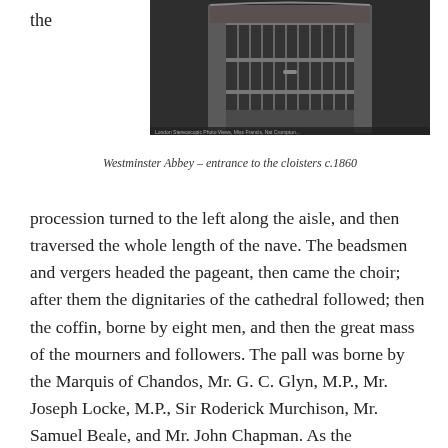the
[Figure (photo): Black and white photograph of Westminster Abbey entrance to the cloisters, showing ornate iron gates, circa 1860]
Westminster Abbey – entrance to the cloisters c.1860
procession turned to the left along the aisle, and then traversed the whole length of the nave. The beadsmen and vergers headed the pageant, then came the choir; after them the dignitaries of the cathedral followed; then the coffin, borne by eight men, and then the great mass of the mourners and followers. The pall was borne by the Marquis of Chandos, Mr. G. C. Glyn, M.P., Mr. Joseph Locke, M.P., Sir Roderick Murchison, Mr. Samuel Beale, and Mr. John Chapman. As the procession advanced slowly up the nave the choir, accompanied by the organ, chanted the sentences from the office for the burial